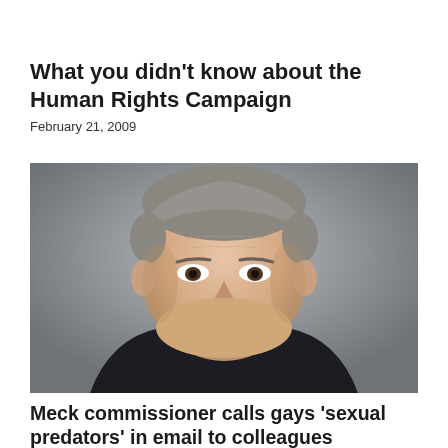What you didn’t know about the Human Rights Campaign
February 21, 2009
[Figure (photo): Close-up portrait photo of a middle-aged white man with gray hair, wearing a dark suit jacket and light shirt, looking directly at the camera with a neutral expression against a gray background.]
Meck commissioner calls gays ‘sexual predators’ in email to colleagues